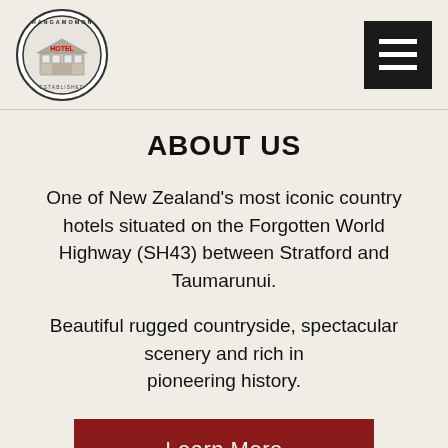[Figure (logo): Circular logo for Whangamomona Hotel with building illustration and red HOTEL text in the center, black circular border with text around the perimeter]
[Figure (other): Black hamburger menu button with three white horizontal lines]
ABOUT US
One of New Zealand’s most iconic country hotels situated on the Forgotten World Highway (SH43) between Stratford and Taumarunui.
Beautiful rugged countryside, spectacular scenery and rich in pioneering history.
Learn More